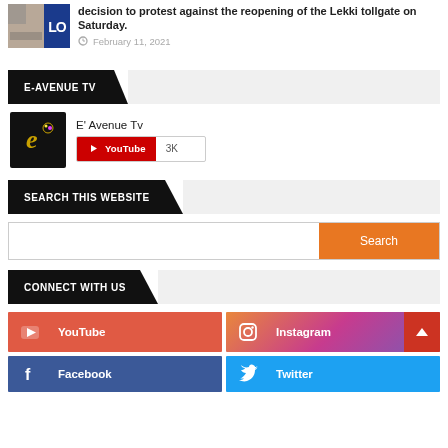decision to protest against the reopening of the Lekki tollgate on Saturday.
February 11, 2021
E-AVENUE TV
E' Avenue Tv
YouTube 3K
SEARCH THIS WEBSITE
Search
CONNECT WITH US
YouTube
Instagram
Facebook
Twitter